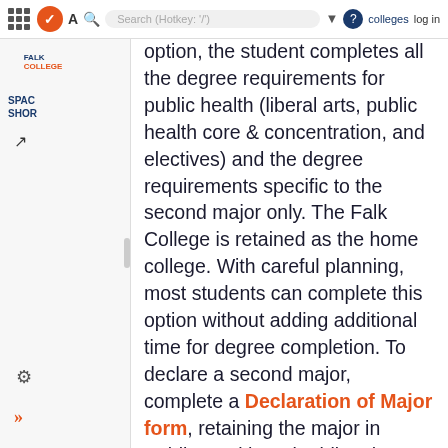A  Search (Hotkey: '/')  colleges  log in
option, the student completes all the degree requirements for public health (liberal arts, public health core & concentration, and electives) and the degree requirements specific to the second major only. The Falk College is retained as the home college. With careful planning, most students can complete this option without adding additional time for degree completion. To declare a second major, complete a Declaration of Major form, retaining the major in Public Health and adding the second major.
Minors